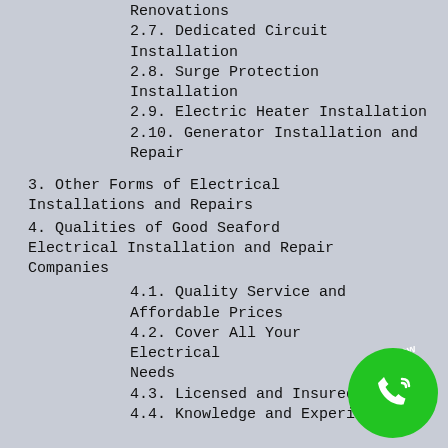Renovations
2.7. Dedicated Circuit Installation
2.8. Surge Protection Installation
2.9. Electric Heater Installation
2.10. Generator Installation and Repair
3. Other Forms of Electrical Installations and Repairs
4. Qualities of Good Seaford Electrical Installation and Repair Companies
4.1. Quality Service and Affordable Prices
4.2. Cover All Your Electrical Needs
4.3. Licensed and Insured
4.4. Knowledge and Experience